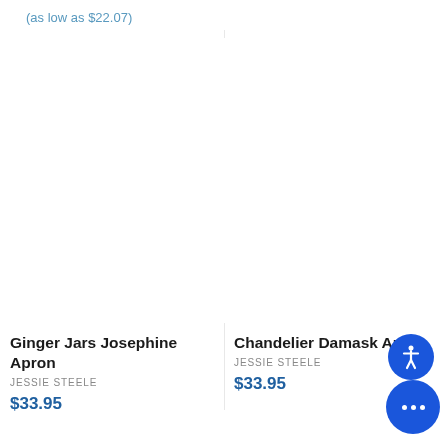(as low as $22.07)
[Figure (photo): Product image area for Ginger Jars Josephine Apron (blank/white)]
Ginger Jars Josephine Apron
JESSIE STEELE
$33.95
[Figure (photo): Product image area for Chandelier Damask Apron (blank/white)]
Chandelier Damask Apron
JESSIE STEELE
$33.95